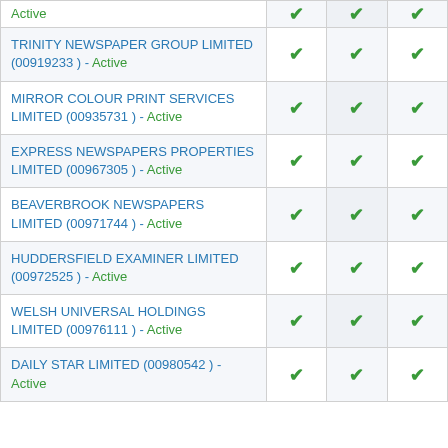| Company |  |  |  |
| --- | --- | --- | --- |
| Active | ✔ | ✔ | ✔ |
| TRINITY NEWSPAPER GROUP LIMITED (00919233 ) - Active | ✔ | ✔ | ✔ |
| MIRROR COLOUR PRINT SERVICES LIMITED (00935731 ) - Active | ✔ | ✔ | ✔ |
| EXPRESS NEWSPAPERS PROPERTIES LIMITED (00967305 ) - Active | ✔ | ✔ | ✔ |
| BEAVERBROOK NEWSPAPERS LIMITED (00971744 ) - Active | ✔ | ✔ | ✔ |
| HUDDERSFIELD EXAMINER LIMITED (00972525 ) - Active | ✔ | ✔ | ✔ |
| WELSH UNIVERSAL HOLDINGS LIMITED (00976111 ) - Active | ✔ | ✔ | ✔ |
| DAILY STAR LIMITED (00980542 ) - Active | ✔ | ✔ | ✔ |